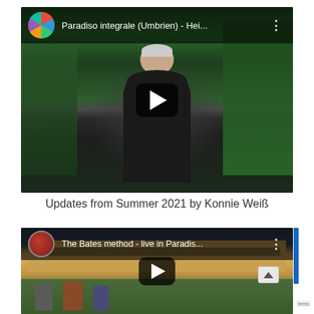[Figure (screenshot): YouTube video thumbnail showing a woman in a black shirt standing in front of flowering bushes and green plants. The video title overlay reads 'Paradiso integrale (Umbrien) - Hei...' with a colorful circular logo/avatar on the left and a three-dot menu icon on the right. A black rounded-rectangle play button is centered on the thumbnail.]
Updates from Summer 2021 by Konnie Weiß
[Figure (screenshot): YouTube video thumbnail showing a building exterior with people in the foreground. The video title overlay reads 'The Bates method - live in Paradis...' with a circular avatar/logo on the left and a three-dot menu icon on the right. A black rounded-rectangle play button is centered on the thumbnail. A blue scrollbar element and a 'Terms' text snippet are partially visible on the right edge.]